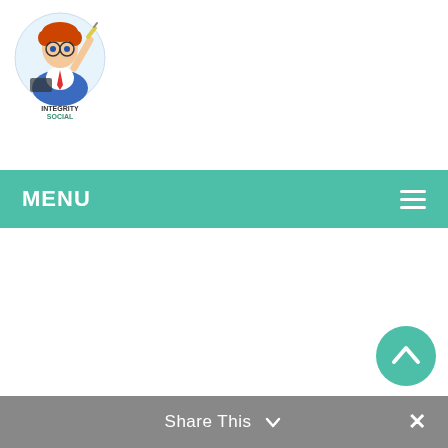[Figure (logo): Integrity Social logo: cartoon person with glasses and blue suit, circular design with text 'INTEGRITY SOCIAL' below]
MENU
[Figure (illustration): Scroll-to-top button: teal circle with white upward chevron arrow]
Share This ∨  ✕